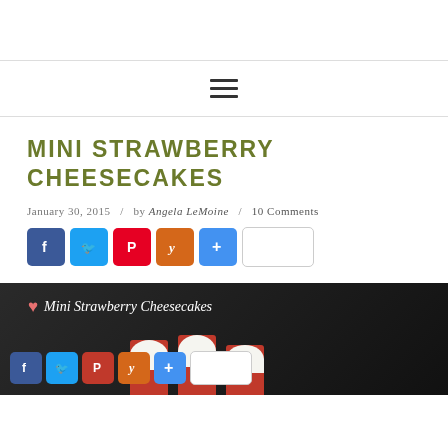≡ (navigation menu icon)
MINI STRAWBERRY CHEESECAKES
January 30, 2015 / by Angela LeMoine / 10 Comments
[Figure (other): Social share buttons row: Facebook (blue), Twitter (light blue), Pinterest (red), Yummly (orange), Add/Plus (blue), and a count box]
[Figure (photo): Dark background photo of mini strawberry cheesecakes in red cupcake liners, with white overlay text reading 'Mini Strawberry Cheesecakes' and a pink heart icon. A second row of social share buttons overlays the bottom: Facebook, Twitter, Pinterest, Yummly, Plus, and a count box.]